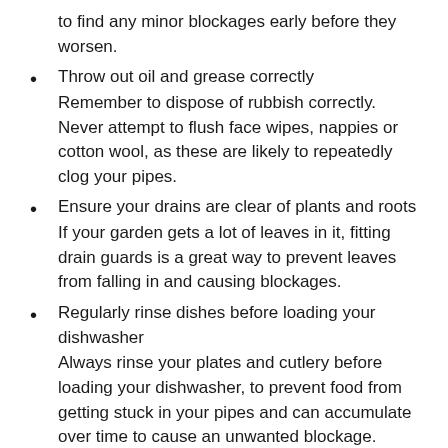to find any minor blockages early before they worsen.
Throw out oil and grease correctly
Remember to dispose of rubbish correctly. Never attempt to flush face wipes, nappies or cotton wool, as these are likely to repeatedly clog your pipes.
Ensure your drains are clear of plants and roots
If your garden gets a lot of leaves in it, fitting drain guards is a great way to prevent leaves from falling in and causing blockages.
Regularly rinse dishes before loading your dishwasher
Always rinse your plates and cutlery before loading your dishwasher, to prevent food from getting stuck in your pipes and can accumulate over time to cause an unwanted blockage.
Learn and research what your responsibilities are as a homeowner or renter, and who you should contact if you